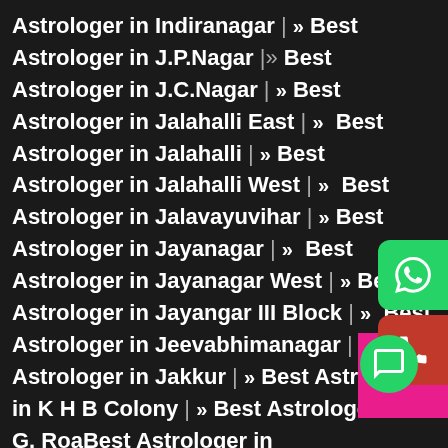Astrologer in Indiranagar | » Best Astrologer in J.P.Nagar | » Best Astrologer in J.C.Nagar | » Best Astrologer in Jalahalli East | » Best Astrologer in Jalahalli | » Best Astrologer in Jalahalli West | » Best Astrologer in Jalavayuvihar | » Best Astrologer in Jayanagar | » Best Astrologer in Jayanagar West | » Best Astrologer in Jayangar III Block | » Best Astrologer in Jeevabhimanagar | » Best Astrologer in Jakkur | » Best Astrologer in K H B Colony | » Best Astrologer in K. G. Road | » Best Astrologer in Kacharakanahalli | » Best Astrologer in Kadabagere | » Best Astrologer in Kadugodi | » Best Astrologer in Kalyananagar | » Best Astrologer in Kamakshipalya | » Best Astrologer in Kengeri | » Best Astrologer in Kothnur | » Best Astrologer in Koramangala | » Best Astrologer in Krishnarajapuram | » Best Astrologer in Kugur | » Best Astrologer in Kumaraswamy Layout | »
[Figure (other): WhatsApp contact button (green rounded rectangle with WhatsApp icon)]
[Figure (other): Phone call button (red rounded rectangle with phone icon)]
[Figure (other): Chat button (green circle with chat bubble icon) overlapping pink box]